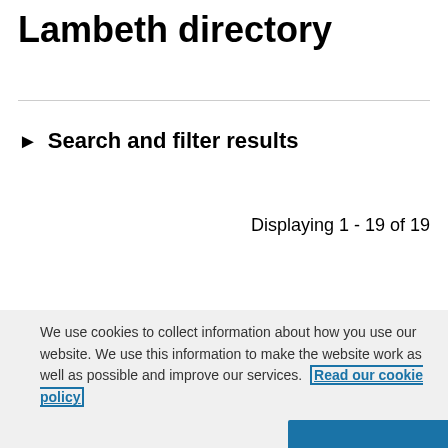Lambeth directory
▶ Search and filter results
Displaying 1 - 19 of 19
We use cookies to collect information about how you use our website. We use this information to make the website work as well as possible and improve our services.  Read our cookie policy